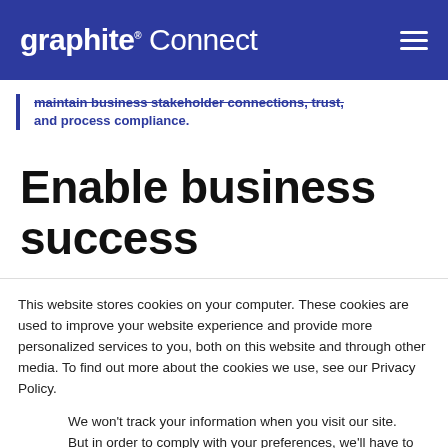graphite® Connect
maintain business stakeholder connections, trust, and process compliance.
Enable business success
This website stores cookies on your computer. These cookies are used to improve your website experience and provide more personalized services to you, both on this website and through other media. To find out more about the cookies we use, see our Privacy Policy.
We won't track your information when you visit our site. But in order to comply with your preferences, we'll have to use just one tiny cookie so that you're not asked to make this choice again.